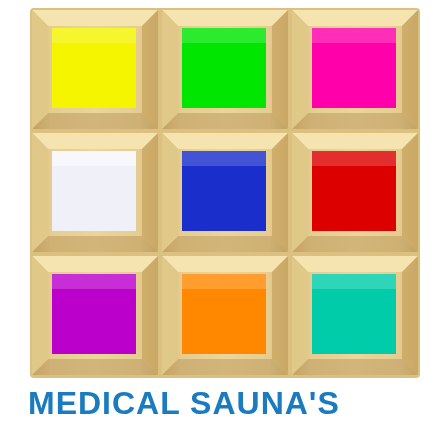[Figure (illustration): A 3x3 grid of wooden-framed panels, each containing a different colored square: top row - yellow, green, magenta/pink; middle row - white, blue, red; bottom row - purple, orange, teal/cyan]
MEDICAL SAUNA'S